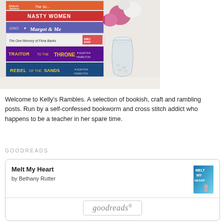[Figure (photo): Stack of books with spines showing titles including 'The Sleeping Prince' by Melinda Salisbury, 'The Scarecrow Queen' by Melinda Salisbury, 'Nasty Women', 'Margot & Me' by Juno Dawson, 'The One Memory of Flora Banks' by Emily Barr, 'Traitor to the Throne' by Alwyn Hamilton, and 'Rebel of the Sands' by Alwyn Hamilton, next to a glass vase with flowers.]
Welcome to Kelly's Rambles. A selection of bookish, craft and rambling posts. Run by a self-confessed bookworm and cross stitch addict who happens to be a teacher in her spare time.
GOODREADS
[Figure (screenshot): Goodreads widget showing book 'Melt My Heart' by Bethany Rutter with book cover and goodreads logo button.]